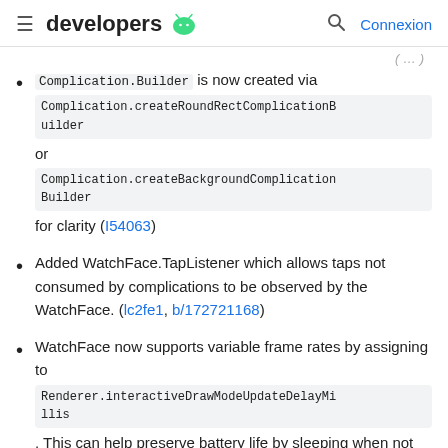≡ developers 🤖  🔍  Connexion
Complication.Builder is now created via Complication.createRoundRectComplicationBuilder or Complication.createBackgroundComplicationBuilder for clarity (I54063)
Added WatchFace.TapListener which allows taps not consumed by complications to be observed by the WatchFace. (lc2fe1, b/172721168)
WatchFace now supports variable frame rates by assigning to Renderer.interactiveDrawModeUpdateDelayMillis . This can help preserve battery life by sleeping when not animating. (I707c9)
WatchFace.Builder is no longer needed and ...